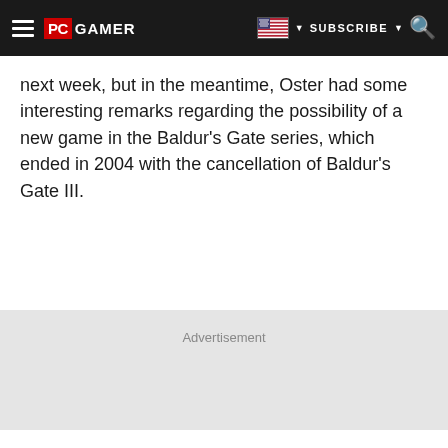PC GAMER | SUBSCRIBE
next week, but in the meantime, Oster had some interesting remarks regarding the possibility of a new game in the Baldur's Gate series, which ended in 2004 with the cancellation of Baldur's Gate III.
Advertisement